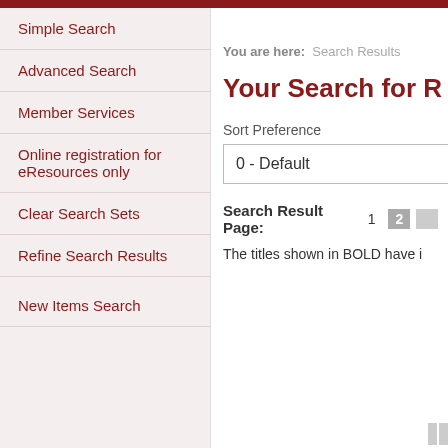Simple Search
Advanced Search
Member Services
Online registration for eResources only
Clear Search Sets
Refine Search Results
New Items Search
You are here:  Search Results
Your Search for R
Sort Preference
0 - Default
Search Result Page:  1  2
The titles shown in BOLD have i